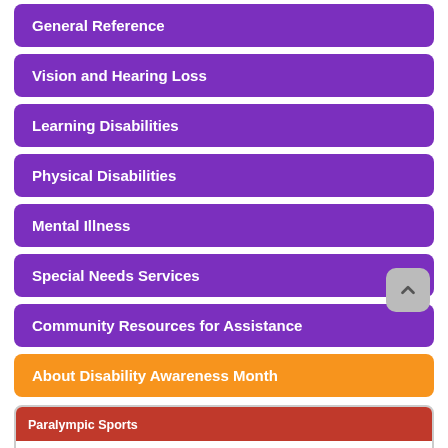General Reference
Vision and Hearing Loss
Learning Disabilities
Physical Disabilities
Mental Illness
Special Needs Services
Community Resources for Assistance
About Disability Awareness Month
Paralympic Sports
Paralympic sports sanctioned by the IPC